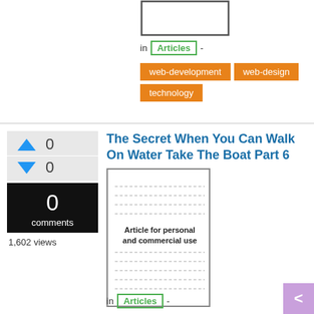[Figure (illustration): Document thumbnail placeholder with border at top of page]
in Articles -
web-development
web-design
technology
The Secret When You Can Walk On Water Take The Boat Part 6
[Figure (illustration): Document thumbnail with dashed lines and label 'Article for personal and commercial use']
0 comments
1,602 views
in Articles -